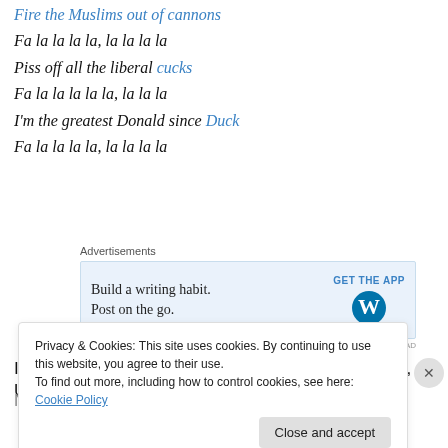Fire the Muslims out of cannons
Fa la la la la, la la la la
Piss off all the liberal cucks
Fa la la la la la, la la la
I'm the greatest Donald since Duck
Fa la la la la, la la la la
[Figure (screenshot): WordPress app advertisement: 'Build a writing habit. Post on the go.' with GET THE APP button and WordPress logo]
In an extraordinarily bellicose statement Wednesday, US
National Security Advisor Michael Fl...
Privacy & Cookies: This site uses cookies. By continuing to use this website, you agree to their use. To find out more, including how to control cookies, see here: Cookie Policy
Close and accept